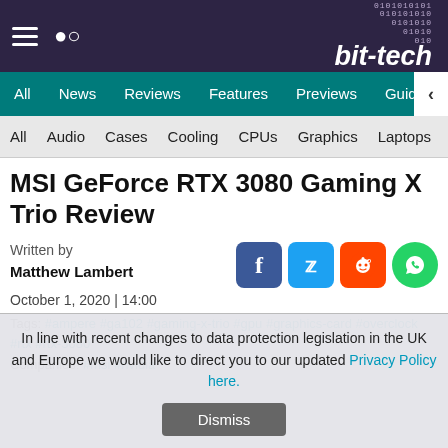bit-tech
All | News | Reviews | Features | Previews | Guides | B
All | Audio | Cases | Cooling | CPUs | Graphics | Laptops | M
MSI GeForce RTX 3080 Gaming X Trio Review
Written by
Matthew Lambert
October 1, 2020 | 14:00
Tags: #ampere #ga102 #gaming-x-trio #gpu #graphics-card #overclock #rtx #rtx-3080
Companies: #msi #nvidia
In line with recent changes to data protection legislation in the UK and Europe we would like to direct you to our updated Privacy Policy here.